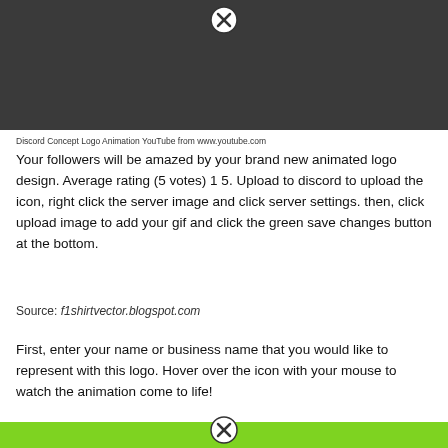[Figure (screenshot): Dark gray banner at the top of the page with an X/close icon]
Discord Concept Logo Animation YouTube from www.youtube.com
Your followers will be amazed by your brand new animated logo design. Average rating (5 votes) 1 5. Upload to discord to upload the icon, right click the server image and click server settings. then, click upload image to add your gif and click the green save changes button at the bottom.
Source: f1shirtvector.blogspot.com
First, enter your name or business name that you would like to represent with this logo. Hover over the icon with your mouse to watch the animation come to life!
[Figure (screenshot): Green banner at the bottom with an X/close icon]